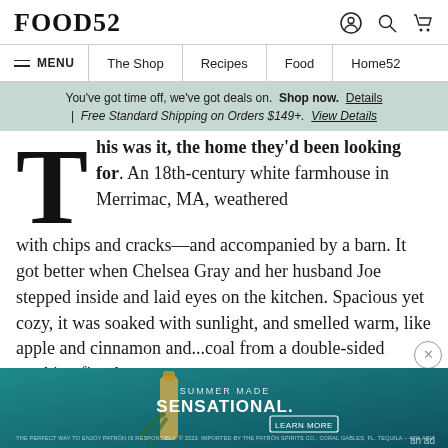FOOD52
MENU | The Shop | Recipes | Food | Home52
You've got time off, we've got deals on. Shop now. Details | Free Standard Shipping on Orders $149+. View Details
This was it, the home they'd been looking for. An 18th-century white farmhouse in Merrimac, MA, weathered with chips and cracks—and accompanied by a barn. It got better when Chelsea Gray and her husband Joe stepped inside and laid eyes on the kitchen. Spacious yet cozy, it was soaked with sunlight, and smelled warm, like apple and cinnamon and...coal from a double-sided working fireplace.
[Figure (other): Advertisement banner for Patron tequila with text SUMMER MADE SENSATIONAL and a bottle of tequila on teal/dark background with LEARN MORE button. Marked as 'an ad'.]